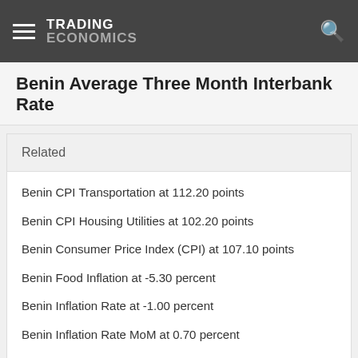TRADING ECONOMICS
Benin Average Three Month Interbank Rate
Related
Benin CPI Transportation at 112.20 points
Benin CPI Housing Utilities at 102.20 points
Benin Consumer Price Index (CPI) at 107.10 points
Benin Food Inflation at -5.30 percent
Benin Inflation Rate at -1.00 percent
Benin Inflation Rate MoM at 0.70 percent
Benin - Credit Rating at 33.00
Benin Money Supply M0 at 937700.00 XOF Million
Benin Average Temperature at 28.70 celsius
Benin Average Three Month Interbank Rate at 3.52 percent